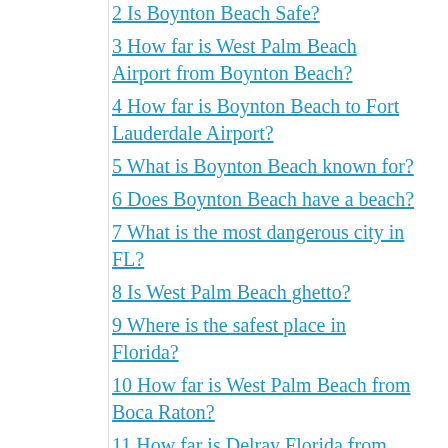2 Is Boynton Beach Safe?
3 How far is West Palm Beach Airport from Boynton Beach?
4 How far is Boynton Beach to Fort Lauderdale Airport?
5 What is Boynton Beach known for?
6 Does Boynton Beach have a beach?
7 What is the most dangerous city in FL?
8 Is West Palm Beach ghetto?
9 Where is the safest place in Florida?
10 How far is West Palm Beach from Boca Raton?
11 How far is Delray Florida from West Palm Beach?
12 How far is Boynton Beach from Miami?
13 How far is Boca Raton from Fort Lauderdale?
14 How far is Boca Raton from Fort Lauderdale?